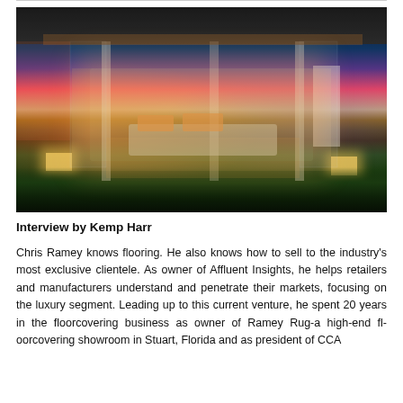[Figure (photo): Architectural rendering of a luxury open-plan living area at dusk/sunset, with glass walls, a flat roof with wood ceiling, glowing cube lights on either side, sofas with orange cushions inside, and lush dark foliage in the foreground. Pink and purple sunset sky visible in the background.]
Interview by Kemp Harr
Chris Ramey knows flooring. He also knows how to sell to the industry's most exclusive clientele. As owner of Affluent Insights, he helps retailers and manufacturers understand and penetrate their markets, focusing on the luxury segment. Leading up to this current venture, he spent 20 years in the floorcovering business as owner of Ramey Rug-a high-end floorcovering showroom in Stuart, Florida and as president of CCA